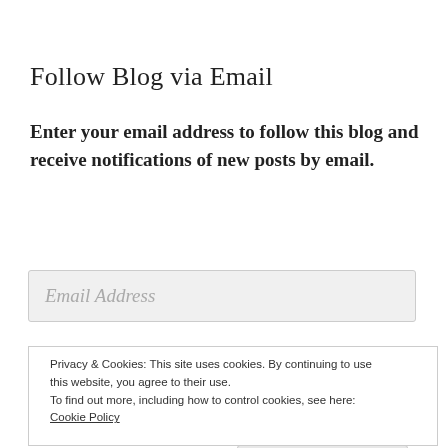Follow Blog via Email
Enter your email address to follow this blog and receive notifications of new posts by email.
Email Address
Privacy & Cookies: This site uses cookies. By continuing to use this website, you agree to their use.
To find out more, including how to control cookies, see here:
Cookie Policy
Close and accept